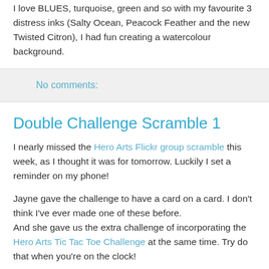I love BLUES, turquoise, green and so with my favourite 3 distress inks (Salty Ocean, Peacock Feather and the new Twisted Citron), I had fun creating a watercolour background.
No comments:
Double Challenge Scramble 1
I nearly missed the Hero Arts Flickr group scramble this week, as I thought it was for tomorrow. Luckily I set a reminder on my phone!
Jayne gave the challenge to have a card on a card. I don't think I've ever made one of these before.
And she gave us the extra challenge of incorporating the Hero Arts Tic Tac Toe Challenge at the same time. Try do that when you're on the clock!
[Figure (other): Small image placeholder with broken image icon in bottom section of page]